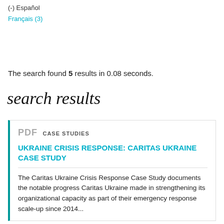(-) Español
Français (3)
The search found 5 results in 0.08 seconds.
search results
PDF  CASE STUDIES
UKRAINE CRISIS RESPONSE: CARITAS UKRAINE CASE STUDY
The Caritas Ukraine Crisis Response Case Study documents the notable progress Caritas Ukraine made in strengthening its organizational capacity as part of their emergency response scale-up since 2014...